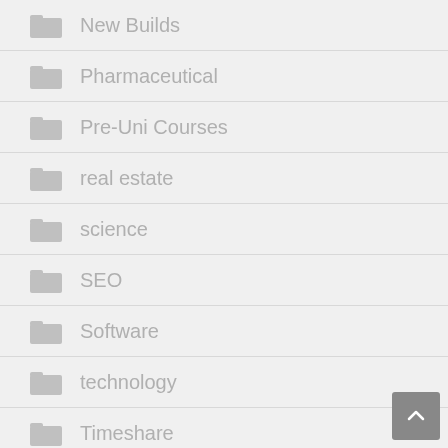New Builds
Pharmaceutical
Pre-Uni Courses
real estate
science
SEO
Software
technology
Timeshare
tourism
Travel
UK Boarding